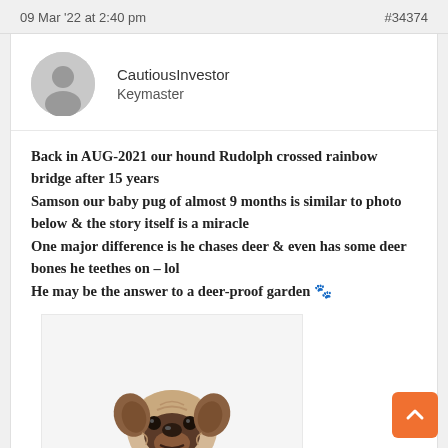09 Mar '22 at 2:40 pm   #34374
CautiousInvestor
Keymaster
Back in AUG-2021 our hound Rudolph crossed rainbow bridge after 15 years
Samson our baby pug of almost 9 months is similar to photo below & the story itself is a miracle
One major difference is he chases deer & even has some deer bones he teethes on – lol
He may be the answer to a deer-proof garden 🐾
[Figure (photo): A baby pug puppy sitting, facing forward, with a white background. The pug has a wrinkled face, dark muzzle, and fawn/beige coat.]